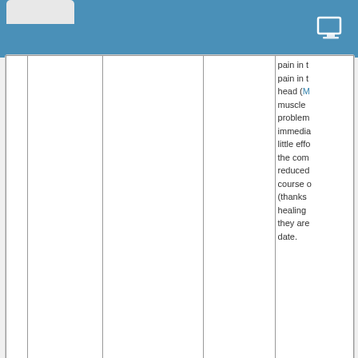|  |  |  |  | pain in t... pain in t... head (M... muscle... problem... immedia... little effo... the com... reduced... course o... (thanks... healing ... they are... date. |
Vaccine injury?
Vaccine damage?
[Figure (illustration): Image of a syringe/needle with red liquid, representing a vaccine injection]